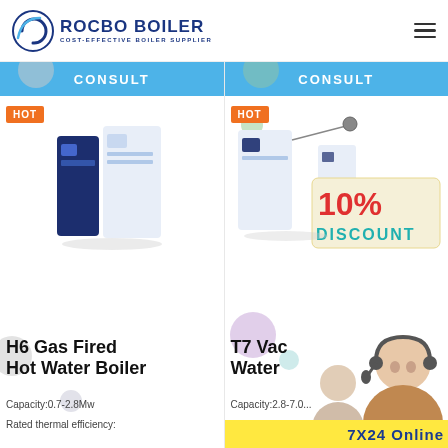[Figure (logo): Rocbo Boiler logo with crescent and text 'ROCBO BOILER - COST-EFFECTIVE BOILER SUPPLIER']
ROCBO BOILER | COST-EFFECTIVE BOILER SUPPLIER
CONSULT
HOT
[Figure (photo): H6 Gas Fired Hot Water Boiler product photo - dark blue and white cabinet unit]
H6 Gas Fired Hot Water Boiler
Capacity:0.7-2.8Mw
Rated thermal efficiency:
CONSULT
HOT
[Figure (photo): T7 Vacuum Hot Water Boiler product photo with 10% DISCOUNT badge overlay]
T7 Vacuum Hot Water
Capacity:2.8-7.0...
Rated the...
[Figure (photo): Customer service agent photo with 7X24 Online banner in yellow]